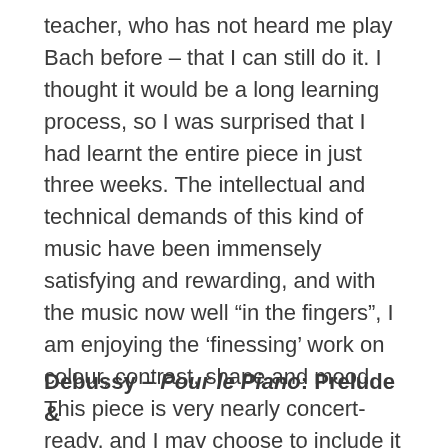teacher, who has not heard me play Bach before – that I can still do it. I thought it would be a long learning process, so I was surprised that I had learnt the entire piece in just three weeks. The intellectual and technical demands of this kind of music have been immensely satisfying and rewarding, and with the music now well “in the fingers”, I am enjoying the ‘finessing’ work on colour, contrast, shape and mood. This piece is very nearly concert-ready, and I may choose to include it in the end of course concert.
Debussy – Pour le Piano: Prelude &